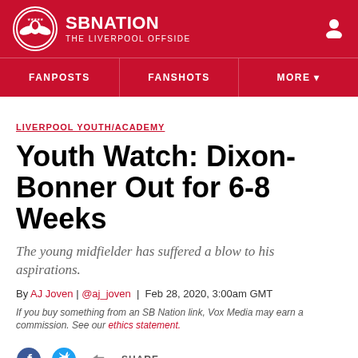SB NATION / THE LIVERPOOL OFFSIDE
FANPOSTS | FANSHOTS | MORE
LIVERPOOL YOUTH/ACADEMY
Youth Watch: Dixon-Bonner Out for 6-8 Weeks
The young midfielder has suffered a blow to his aspirations.
By AJ Joven | @aj_joven | Feb 28, 2020, 3:00am GMT
If you buy something from an SB Nation link, Vox Media may earn a commission. See our ethics statement.